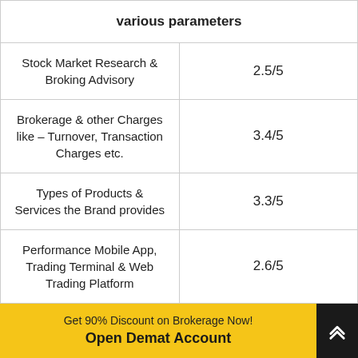| various parameters |  |
| --- | --- |
| Stock Market Research & Broking Advisory | 2.5/5 |
| Brokerage & other Charges like – Turnover, Transaction Charges etc. | 3.4/5 |
| Types of Products & Services the Brand provides | 3.3/5 |
| Performance Mobile App, Trading Terminal & Web Trading Platform | 2.6/5 |
| Experience in the Broking Business | 2.4/5 |
Get 90% Discount on Brokerage Now! Open Demat Account